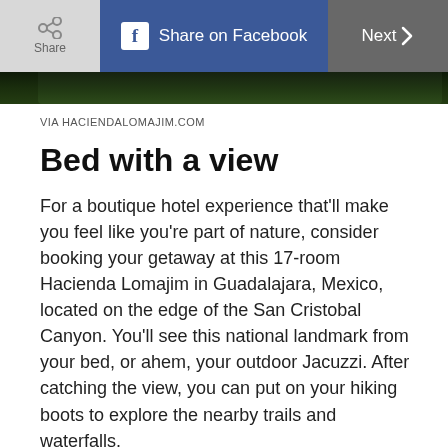Share  Share on Facebook  Next >
[Figure (photo): Partial view of a lush green nature/forest scene, cropped at top]
VIA HACIENDALOMAJIM.COM
Bed with a view
For a boutique hotel experience that’ll make you feel like you’re part of nature, consider booking your getaway at this 17-room Hacienda Lomajim in Guadalajara, Mexico, located on the edge of the San Cristobal Canyon. You’ll see this national landmark from your bed, or ahem, your outdoor Jacuzzi. After catching the view, you can put on your hiking boots to explore the nearby trails and waterfalls.
Book now